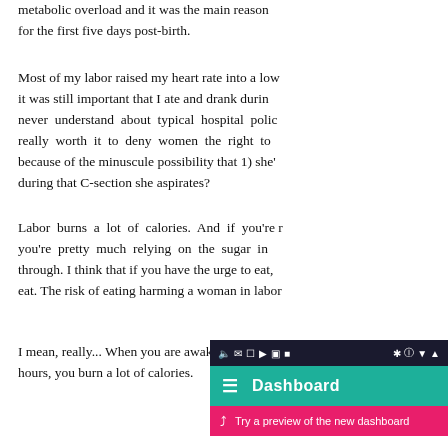metabolic overload and it was the main reason for the first five days post-birth.
Most of my labor raised my heart rate into a low it was still important that I ate and drank durin never understand about typical hospital polic really worth it to deny women the right to because of the minuscule possibility that 1) she' during that C-section she aspirates?
Labor burns a lot of calories. And if you're r you're pretty much relying on the sugar in through. I think that if you have the urge to eat, eat. The risk of eating harming a woman in labor
I mean, really... When you are awake for days a hours, you burn a lot of calories.
[Figure (screenshot): Mobile app screenshot showing a dark status bar, a teal Dashboard toolbar with hamburger menu, and a pink/red preview bar saying 'Try a preview of the new dashboard']